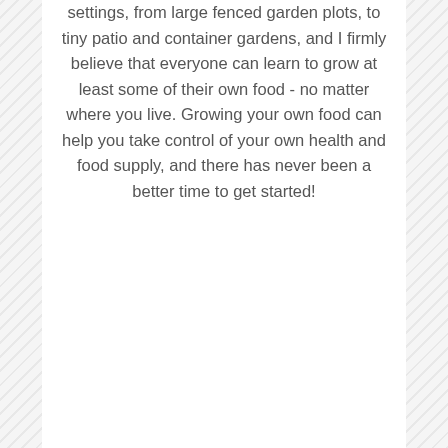settings, from large fenced garden plots, to tiny patio and container gardens, and I firmly believe that everyone can learn to grow at least some of their own food - no matter where you live. Growing your own food can help you take control of your own health and food supply, and there has never been a better time to get started!